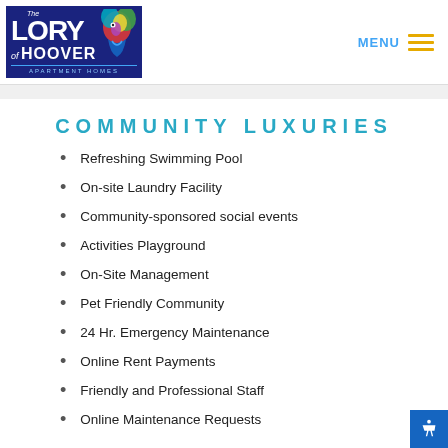[Figure (logo): The Lory of Hoover Apartment Homes logo on dark blue background with colorful bird]
COMMUNITY LUXURIES
Refreshing Swimming Pool
On-site Laundry Facility
Community-sponsored social events
Activities Playground
On-Site Management
Pet Friendly Community
24 Hr. Emergency Maintenance
Online Rent Payments
Friendly and Professional Staff
Online Maintenance Requests